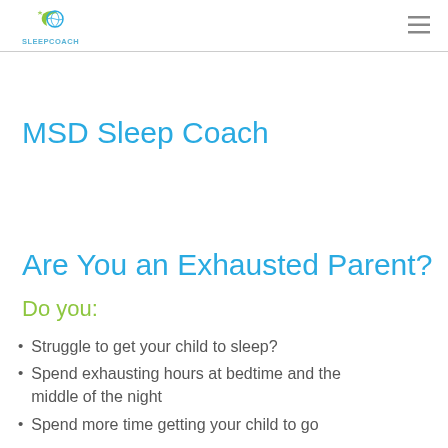SleepCoach
MSD Sleep Coach
Are You an Exhausted Parent?
Do you:
Struggle to get your child to sleep?
Spend exhausting hours at bedtime and the middle of the night
Spend more time getting your child to go